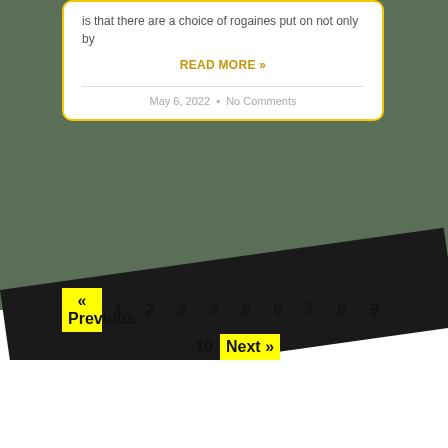is that there are a choice of rogaines put on not only by
READ MORE »
May 6, 2022 • No Comments
« Previous  1  2  3  4  5  6  7  8  9  10  Next »